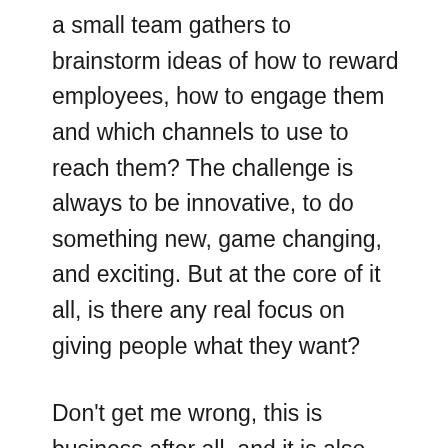a small team gathers to brainstorm ideas of how to reward employees, how to engage them and which channels to use to reach them? The challenge is always to be innovative, to do something new, game changing, and exciting. But at the core of it all, is there any real focus on giving people what they want?
Don't get me wrong, this is business after all, and it is also necessary to shift things up sometimes, to use new channels and to continually aim to surprise and delight your people. But are you paying attention to the research? Did you ask